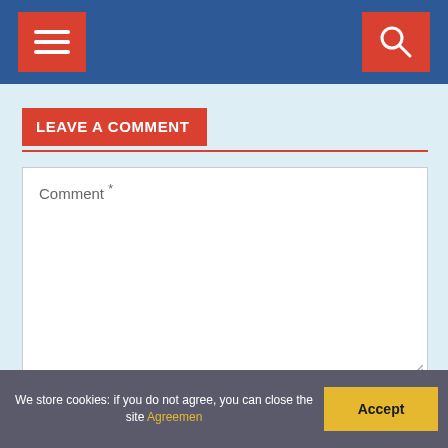Navigation header with menu and search buttons
LEAVE A COMMENT
Comment *
Name *
We store cookies: if you do not agree, you can close the site Agreemen